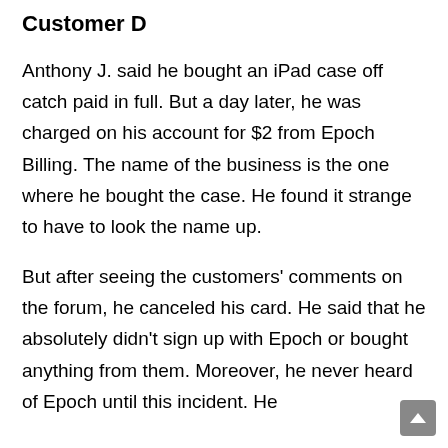Customer D
Anthony J. said he bought an iPad case off catch paid in full. But a day later, he was charged on his account for $2 from Epoch Billing. The name of the business is the one where he bought the case. He found it strange to have to look the name up.
But after seeing the customers' comments on the forum, he canceled his card. He said that he absolutely didn't sign up with Epoch or bought anything from them. Moreover, he never heard of Epoch until this incident. He